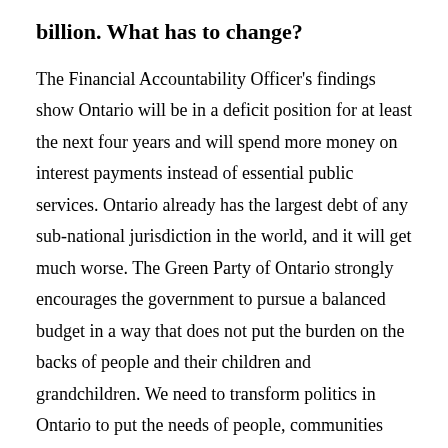billion. What has to change?
The Financial Accountability Officer's findings show Ontario will be in a deficit position for at least the next four years and will spend more money on interest payments instead of essential public services. Ontario already has the largest debt of any sub-national jurisdiction in the world, and it will get much worse. The Green Party of Ontario strongly encourages the government to pursue a balanced budget in a way that does not put the burden on the backs of people and their children and grandchildren. We need to transform politics in Ontario to put the needs of people, communities and local businesses before big